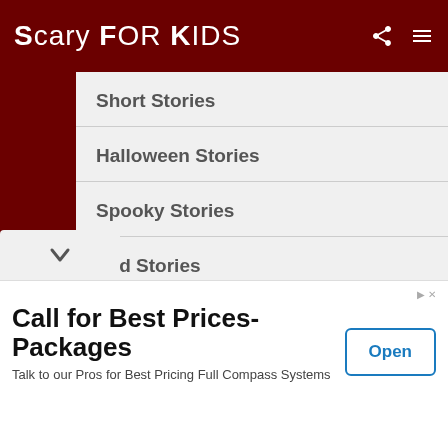SCARY FOR KIDS
Short Stories
Halloween Stories
Spooky Stories
Sad Stories
Funny Stories
Creepypasta
Chain Letters
Call for Best Prices-Packages
Talk to our Pros for Best Pricing Full Compass Systems
Open